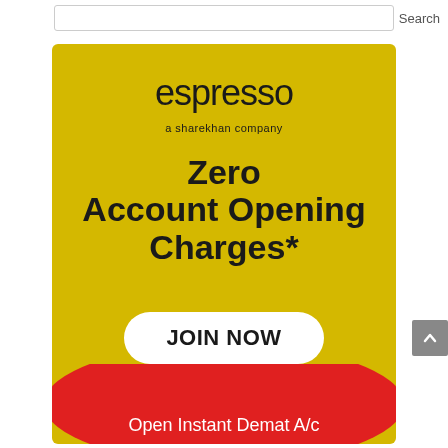Search
[Figure (illustration): Espresso by Sharekhan advertisement banner on yellow background. Shows 'espresso' logo, 'a sharekhan company' tagline, 'Zero Account Opening Charges*' headline, 'JOIN NOW' call-to-action button, a smartphone graphic, a red semicircle at bottom, and text 'Open Instant Demat A/c'.]